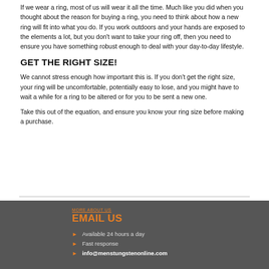If we wear a ring, most of us will wear it all the time.  Much like you did when you thought about the reason for buying a ring, you need to think about how a new ring will fit into what you do.  If you work outdoors and your hands are exposed to the elements a lot, but you don't want to take your ring off, then you need to ensure you have something robust enough to deal with your day-to-day lifestyle.
GET THE RIGHT SIZE!
We cannot stress enough how important this is.  If you don't get the right size, your ring will be uncomfortable, potentially easy to lose, and you might have to wait a while for a ring to be altered or for you to be sent a new one.
Take this out of the equation, and ensure you know your ring size before making a purchase.
EMAIL US
Available 24 hours a day
Fast response
info@menstungstenonline.com